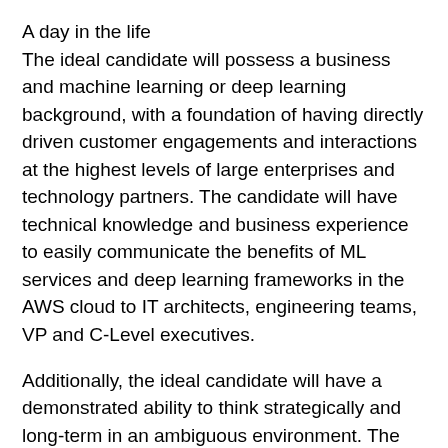A day in the life
The ideal candidate will possess a business and machine learning or deep learning background, with a foundation of having directly driven customer engagements and interactions at the highest levels of large enterprises and technology partners. The candidate will have technical knowledge and business experience to easily communicate the benefits of ML services and deep learning frameworks in the AWS cloud to IT architects, engineering teams, VP and C-Level executives.
Additionally, the ideal candidate will have a demonstrated ability to think strategically and long-term in an ambiguous environment. The ideal candidate will have performed market analysis, deal negotiation and construction, field readiness, and business operations. Finally, the candidate will have a background that enables them to create scalable programs that